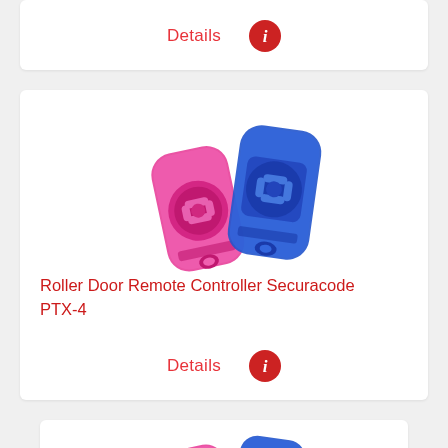Details
[Figure (photo): Two small roller door remote controllers side by side – a pink/magenta one on the left and a blue one on the right, both branded Securacode, with circular button pads.]
Roller Door Remote Controller Securacode PTX-4
Details
[Figure (photo): Two small roller door remote controllers – pink/magenta and blue – similar to the ones above, partially shown at the bottom of the page.]